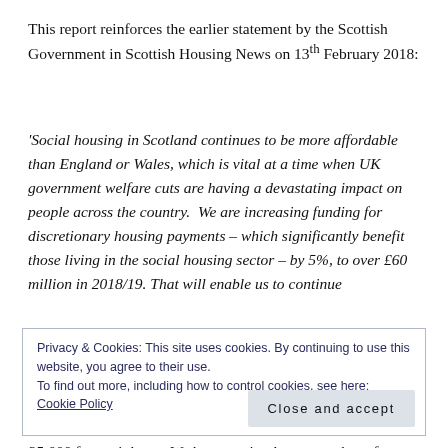This report reinforces the earlier statement by the Scottish Government in Scottish Housing News on 13th February 2018:
'Social housing in Scotland continues to be more affordable than England or Wales, which is vital at a time when UK government welfare cuts are having a devastating impact on people across the country.  We are increasing funding for discretionary housing payments – which significantly benefit those living in the social housing sector – by 5%, to over £60 million in 2018/19. That will enable us to continue
Privacy & Cookies: This site uses cookies. By continuing to use this website, you agree to their use.
To find out more, including how to control cookies, see here: Cookie Policy
Close and accept
35,000 for social rent. We have put in place a number of